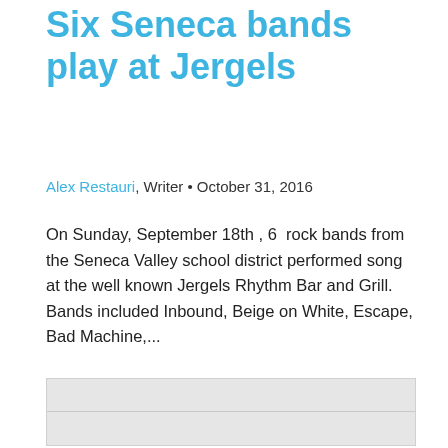Six Seneca bands play at Jergels
Alex Restauri, Writer • October 31, 2016
On Sunday, September 18th , 6  rock bands from the Seneca Valley school district performed song at the well known Jergels Rhythm Bar and Grill. Bands included Inbound, Beige on White, Escape, Bad Machine,...
[Figure (other): Grey advertisement placeholder box]
[Figure (photo): Photograph of a panel discussion at the White House Frontiers Conference, showing four panelists including Barack Obama seated at a table with repeated FRONTIERS CONFERENCE signage in the background]